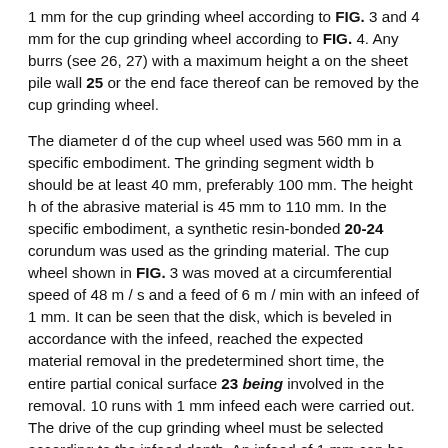1 mm for the cup grinding wheel according to FIG. 3 and 4 mm for the cup grinding wheel according to FIG. 4. Any burrs (see 26, 27) with a maximum height a on the sheet pile wall 25 or the end face thereof can be removed by the cup grinding wheel.
The diameter d of the cup wheel used was 560 mm in a specific embodiment. The grinding segment width b should be at least 40 mm, preferably 100 mm. The height h of the abrasive material is 45 mm to 110 mm. In the specific embodiment, a synthetic resin-bonded 20-24 corundum was used as the grinding material. The cup wheel shown in FIG. 3 was moved at a circumferential speed of 48 m / s and a feed of 6 m / min with an infeed of 1 mm. It can be seen that the disk, which is beveled in accordance with the infeed, reached the expected material removal in the predetermined short time, the entire partial conical surface 23 being involved in the removal. 10 runs with 1 mm infeed each were carried out. The drive of the cup grinding wheel must be selected according to the infeed depth. An infeed of 1 mm can be achieved with a drive with a maximum load capacity of 18 kW. However, if you want to increase the infeed up to 4 mm, e.g. B. to